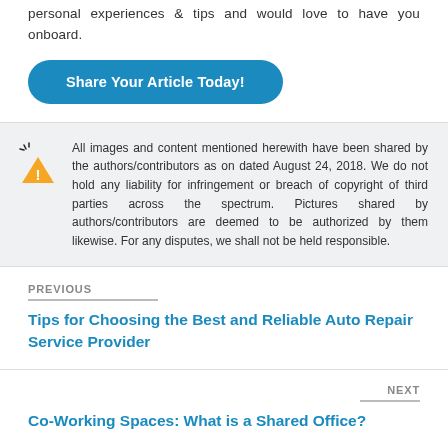personal experiences & tips and would love to have you onboard.
Share Your Article Today!
All images and content mentioned herewith have been shared by the authors/contributors as on dated August 24, 2018. We do not hold any liability for infringement or breach of copyright of third parties across the spectrum. Pictures shared by authors/contributors are deemed to be authorized by them likewise. For any disputes, we shall not be held responsible.
PREVIOUS
Tips for Choosing the Best and Reliable Auto Repair Service Provider
NEXT
Co-Working Spaces: What is a Shared Office?